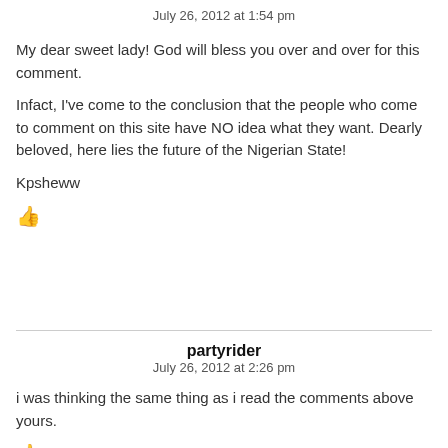July 26, 2012 at 1:54 pm
My dear sweet lady! God will bless you over and over for this comment.
Infact, I've come to the conclusion that the people who come to comment on this site have NO idea what they want. Dearly beloved, here lies the future of the Nigerian State!
Kpsheww
👍
partyrider
July 26, 2012 at 2:26 pm
i was thinking the same thing as i read the comments above yours.
👍